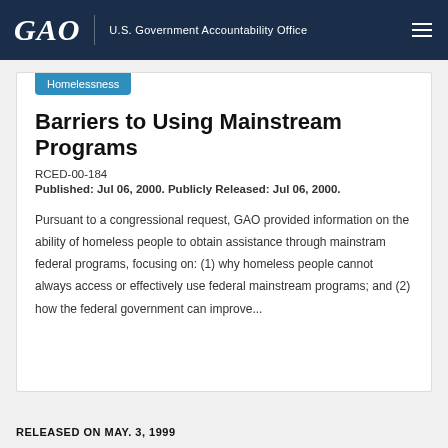GAO U.S. Government Accountability Office
Homelessness
Barriers to Using Mainstream Programs
RCED-00-184
Published: Jul 06, 2000. Publicly Released: Jul 06, 2000.
Pursuant to a congressional request, GAO provided information on the ability of homeless people to obtain assistance through mainstram federal programs, focusing on: (1) why homeless people cannot always access or effectively use federal mainstream programs; and (2) how the federal government can improve...
RELEASED ON MAY. 3, 1999